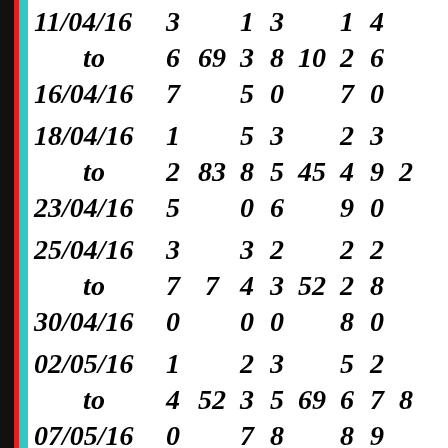| Date | Col1 | Col2 | Col3 | Col4 | Col5 | Col6 | Col7 | Col8 |
| --- | --- | --- | --- | --- | --- | --- | --- | --- |
| 11/04/16 | 3 |  | 1 | 3 |  | 1 | 4 |  |
| to | 6 | 69 | 3 | 8 | 10 | 2 | 6 |  |
| 16/04/16 | 7 |  | 5 | 0 |  | 7 | 0 |  |
| 18/04/16 | 1 |  | 5 | 3 |  | 2 | 3 |  |
| to | 2 | 83 | 8 | 5 | 45 | 4 | 9 | 2 |
| 23/04/16 | 5 |  | 0 | 6 |  | 9 | 0 |  |
| 25/04/16 | 3 |  | 3 | 2 |  | 2 | 2 |  |
| to | 7 | 7 | 4 | 3 | 52 | 2 | 8 |  |
| 30/04/16 | 0 |  | 0 | 0 |  | 8 | 0 |  |
| 02/05/16 | 1 |  | 2 | 3 |  | 5 | 2 |  |
| to | 4 | 52 | 3 | 5 | 69 | 6 | 7 | 8 |
| 07/05/16 | 0 |  | 7 | 8 |  | 8 | 9 |  |